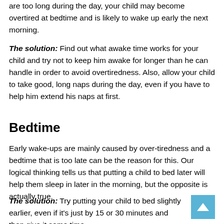are too long during the day, your child may become overtired at bedtime and is likely to wake up early the next morning.
The solution: Find out what awake time works for your child and try not to keep him awake for longer than he can handle in order to avoid overtiredness. Also, allow your child to take good, long naps during the day, even if you have to help him extend his naps at first.
Bedtime
Early wake-ups are mainly caused by over-tiredness and a bedtime that is too late can be the reason for this. Our logical thinking tells us that putting a child to bed later will help them sleep in later in the morning, but the opposite is actually true.
The solution: Try putting your child to bed slightly earlier, even if it's just by 15 or 30 minutes and then give it some time